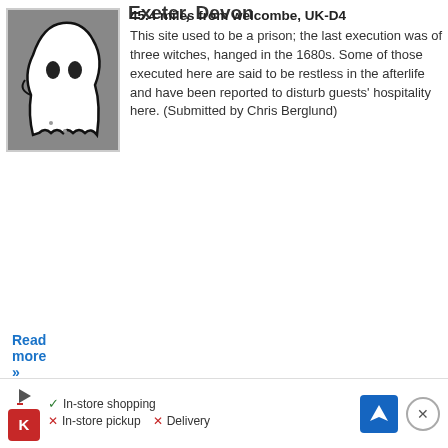[Figure (illustration): Ghost/haunt icon illustration on a grey background with a border]
Exeter, Devon
45.4 miles from welcombe, UK-D4
This site used to be a prison; the last execution was of three witches, hanged in the 1680s. Some of those executed here are said to be restless in the afterlife and have been reported to disturb guests' hospitality here. (Submitted by Chris Berglund)
Read more »
[Figure (screenshot): Advertisement banner for a store showing: In-store shopping (check), In-store pickup (X), Delivery (X), with Kroger logo and Google Maps button]